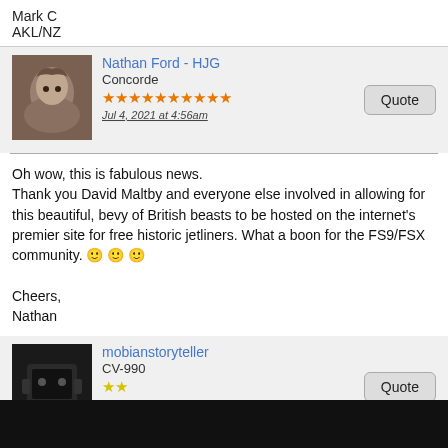Mark C
AKL/NZ
Nathan Ford - HJG
Concorde
★★★★★★★★★★
Jul 4, 2021 at 4:56am
Oh wow, this is fabulous news.
Thank you David Maltby and everyone else involved in allowing for this beautiful, bevy of British beasts to be hosted on the internet's premier site for free historic jetliners. What a boon for the FS9/FSX community. 🙂 🙂 🙂

Cheers,
Nathan
mobianstoryteller
CV-990
★★
Jul 4, 2021 at 5:33am
Wow what a lovely surprise this is for these wonderful aircraft to be hosted here, Many thanks for these efforts 🙂